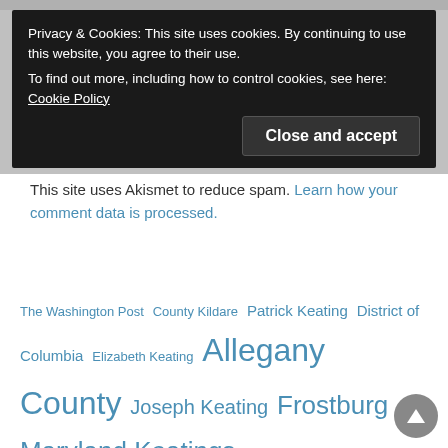Privacy & Cookies: This site uses cookies. By continuing to use this website, you agree to their use.
To find out more, including how to control cookies, see here: Cookie Policy
Close and accept
This site uses Akismet to reduce spam. Learn how your comment data is processed.
The Washington Post County Kildare Patrick Keating District of Columbia Elizabeth Keating Allegany County Joseph Keating Frostburg Maryland Keatings Florida Charles Keating Frostburg Lonaconing Maryland Keatings Baltimore William Keating Pennsylvania Lonaconing Connecticut Washington Edward Keating Margaret Keating Thomas Keating Catherine Keating John